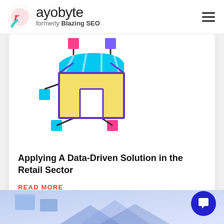rayobyte — formerly Blazing SEO
[Figure (illustration): Two illustrated icons side by side: left shows a connected marketplace/store icon with colored nodes, right shows a dark stacked database/server icon with cyan stripes and indicator lights.]
Applying A Data-Driven Solution in the Retail Sector
READ MORE
[Figure (illustration): Partial view of next card section with blue/purple gradient background and isometric computer/data illustration peeking at the bottom of the page.]